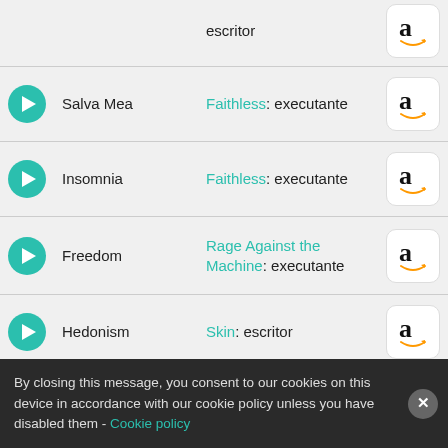escritor (partial top row)
Salva Mea — Faithless: executante
Insomnia — Faithless: executante
Freedom — Rage Against the Machine: executante
Hedonism — Skin: escritor
One to Another — The Charlatans: executante
The Only One I Know — The Charlatans: executante
By closing this message, you consent to our cookies on this device in accordance with our cookie policy unless you have disabled them - Cookie policy
Finetime — John Power: escritor